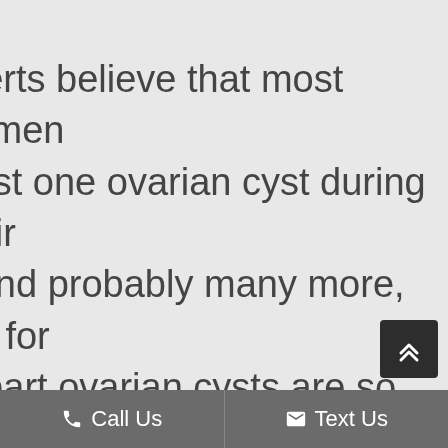xperts believe that most women least one ovarian cyst during their e and probably many more, but for st part ovarian cysts are so usive they can come and go t you ever realizing. Peter L. son, MD, of Dearborn Obstetrics & logy PC, is an experienced and qualified OB/GYN who provides ent to those patients in the rn area of Michigan who have with their ovarian cysts. To schedule ltation with Dr. Stevenson, call rn Obstetrics & Gynecology PC
Call Us   Text Us